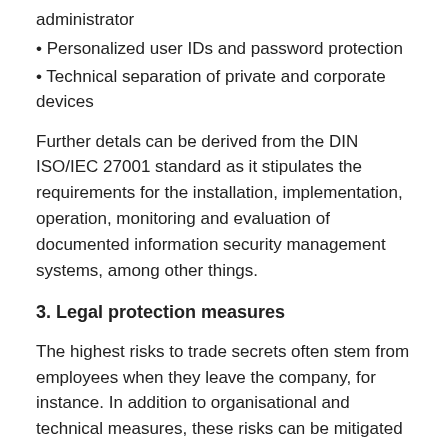administrator
• Personalized user IDs and password protection
• Technical separation of private and corporate devices
Further detals can be derived from the DIN ISO/IEC 27001 standard as it stipulates the requirements for the installation, implementation, operation, monitoring and evaluation of documented information security management systems, among other things.
3. Legal protection measures
The highest risks to trade secrets often stem from employees when they leave the company, for instance. In addition to organisational and technical measures, these risks can be mitigated by way of confidentiality obligations in the employment contract. In order to ensure effective protection in any